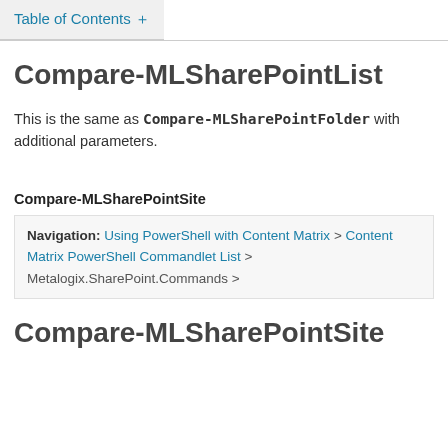Table of Contents +
Compare-MLSharePointList
This is the same as Compare-MLSharePointFolder with additional parameters.
Compare-MLSharePointSite
Navigation: Using PowerShell with Content Matrix > Content Matrix PowerShell Commandlet List > Metalogix.SharePoint.Commands >
Compare-MLSharePointSite